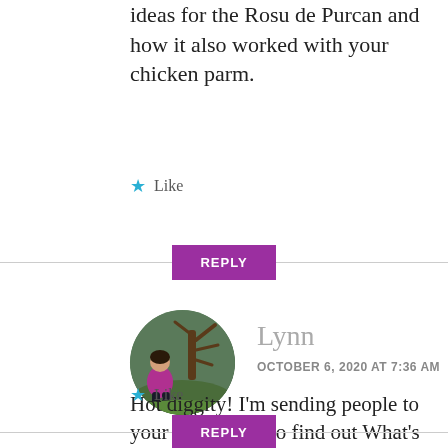ideas for the Rosu de Purcan and how it also worked with your chicken parm.
Like
REPLY
[Figure (photo): Circular avatar photo of a woman in a magenta/pink sweater crouching near a gnarled tree outdoors on grass]
Lynn
OCTOBER 6, 2020 AT 7:36 AM
Hot diggity! I'm sending people to your place, here to find out What's in that Moldova bottle! Seriously, good stuff.
Like
REPLY